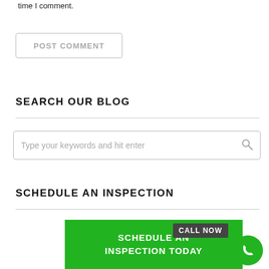time I comment.
POST COMMENT
SEARCH OUR BLOG
Type your keywords and hit enter
SCHEDULE AN INSPECTION
SCHEDULE AN INSPECTION TODAY
CALL NOW